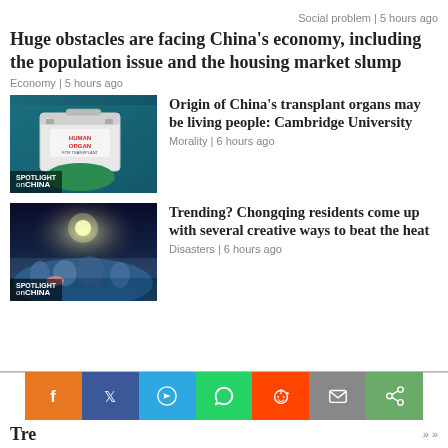Social problem | 5 hours ago
Huge obstacles are facing China's economy, including the population issue and the housing market slump
Economy | 5 hours ago
[Figure (photo): Person in medical scrubs holding a white insulated box labeled 'HUMAN ORGAN FOR TRANSPLANT'. Spotlight on China label visible.]
Origin of China's transplant organs may be living people: Cambridge University
Morality | 6 hours ago
[Figure (photo): People in a water park at night in Chongqing. Spotlight on China label visible.]
Trending? Chongqing residents come up with several creative ways to beat the heat
Disasters | 6 hours ago